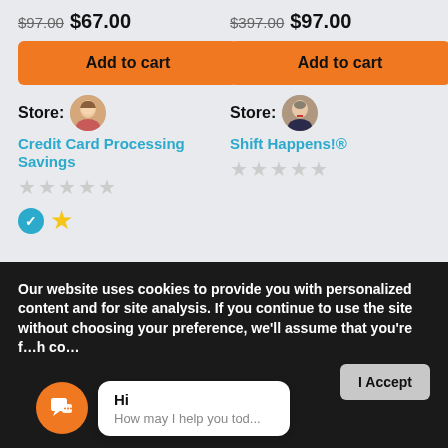$97.00 $67.00
$397.00 $97.00
Add to cart
Add to cart
Store: Credit Card Processing Savings
Store: Shift Happens!®
Our website uses cookies to provide you with personalized content and for site analysis. If you continue to use the site without choosing your preference, we'll assume that you're f...h co...
Hi
How may I help you tod...
I Accept